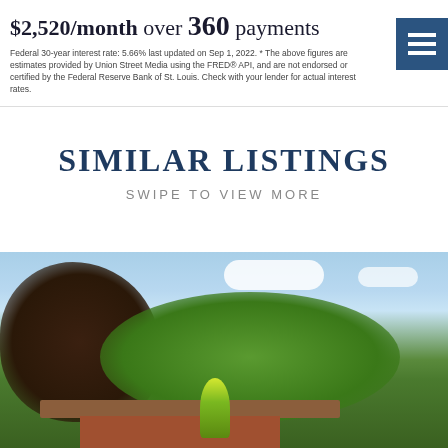$2,520/month over 360 payments
Federal 30-year interest rate: 5.66% last updated on Sep 1, 2022. * The above figures are estimates provided by Union Street Media using the FRED® API, and are not endorsed or certified by the Federal Reserve Bank of St. Louis. Check with your lender for actual interest rates.
SIMILAR LISTINGS
SWIPE TO VIEW MORE
[Figure (photo): Exterior photo of a residential property showing a low-profile house with a brown/red roof and brick facade, surrounded by dark-leafed and green trees under a blue sky with clouds.]